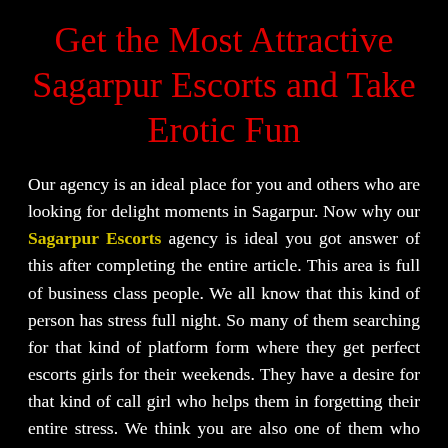Get the Most Attractive Sagarpur Escorts and Take Erotic Fun
Our agency is an ideal place for you and others who are looking for delight moments in Sagarpur. Now why our Sagarpur Escorts agency is ideal you got answer of this after completing the entire article. This area is full of business class people. We all know that this kind of person has stress full night. So many of them searching for that kind of platform form where they get perfect escorts girls for their weekends. They have a desire for that kind of call girl who helps them in forgetting their entire stress. We think you are also one of them who looking for a good looking lady for the evening. If our